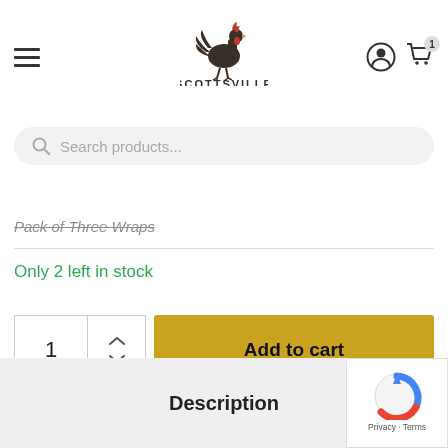Scottsville Supply Co.
Search products...
Pack of Three Wraps
Only 2 left in stock
1
Add to cart
Description